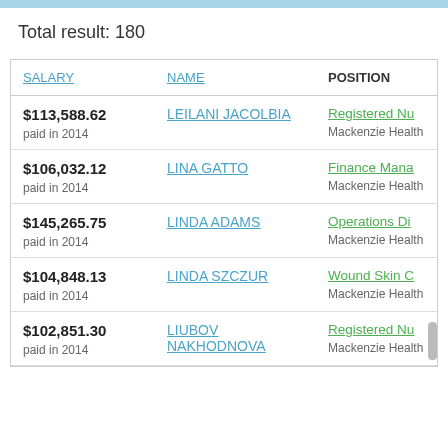Total result: 180
| SALARY | NAME | POSITION |
| --- | --- | --- |
| $113,588.62
paid in 2014 | LEILANI JACOLBIA | Registered Nu...
Mackenzie Health |
| $106,032.12
paid in 2014 | LINA GATTO | Finance Mana...
Mackenzie Health |
| $145,265.75
paid in 2014 | LINDA ADAMS | Operations Di...
Mackenzie Health |
| $104,848.13
paid in 2014 | LINDA SZCZUR | Wound Skin C...
Mackenzie Health |
| $102,851.30
paid in 2014 | LIUBOV NAKHODNOVA | Registered Nu...
Mackenzie Health |